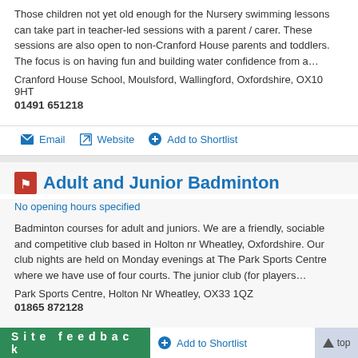Those children not yet old enough for the Nursery swimming lessons can take part in teacher-led sessions with a parent / carer. These sessions are also open to non-Cranford House parents and toddlers. The focus is on having fun and building water confidence from a…
Cranford House School, Moulsford, Wallingford, Oxfordshire, OX10 9HT
01491 651218
Email | Website | Add to Shortlist
Adult and Junior Badminton
No opening hours specified
Badminton courses for adult and juniors. We are a friendly, sociable and competitive club based in Holton nr Wheatley, Oxfordshire. Our club nights are held on Monday evenings at The Park Sports Centre where we have use of four courts. The junior club (for players…
Park Sports Centre, Holton Nr Wheatley, OX33 1QZ
01865 872128
Website | Add to Shortlist
Site feedback | top